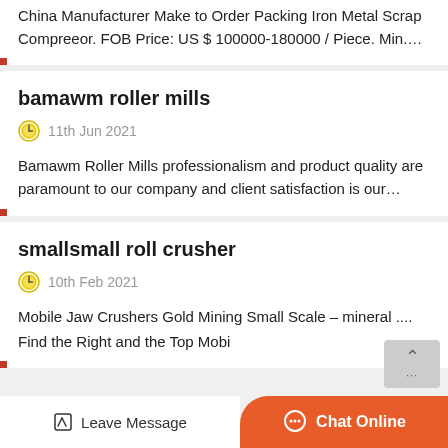China Manufacturer Make to Order Packing Iron Metal Scrap Compreeor. FOB Price: US $ 100000-180000 / Piece. Min.…
bamawm roller mills
11th Jun 2021
Bamawm Roller Mills professionalism and product quality are paramount to our company and client satisfaction is our…
smallsmall roll crusher
10th Feb 2021
Mobile Jaw Crushers Gold Mining Small Scale – mineral .... Find the Right and the Top Mobi…
Leave Message
Chat Online